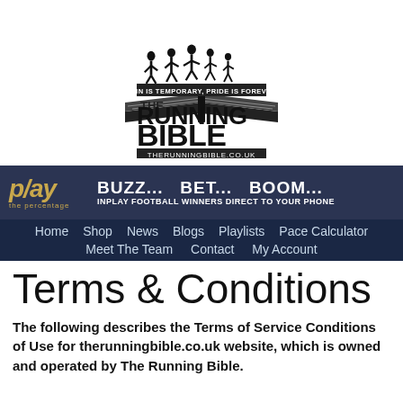[Figure (logo): The Running Bible logo: silhouettes of runners above an open book, text 'PAIN IS TEMPORARY, PRIDE IS FOREVER', 'THE RUNNING BIBLE', 'THERUNNINGBIBLE.CO.UK']
[Figure (infographic): Play the percentage advertisement banner with gold Play logo and text 'BUZZ... BET... BOOM... INPLAY FOOTBALL WINNERS DIRECT TO YOUR PHONE' on dark navy background]
Home  Shop  News  Blogs  Playlists  Pace Calculator  Meet The Team  Contact  My Account
Terms & Conditions
The following describes the Terms of Service Conditions of Use for therunningbible.co.uk website, which is owned and operated by The Running Bible.